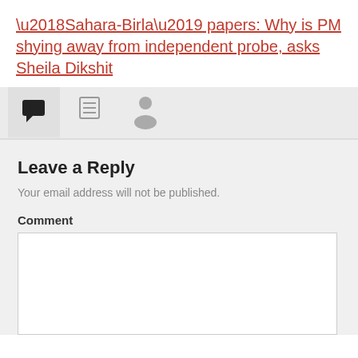‘Sahara-Birla’ papers: Why is PM shying away from independent probe, asks Sheila Dikshit
[Figure (other): Tab bar with three icons: active comment/speech bubble tab, list/clipboard icon tab, and user/person icon tab]
Leave a Reply
Your email address will not be published.
Comment